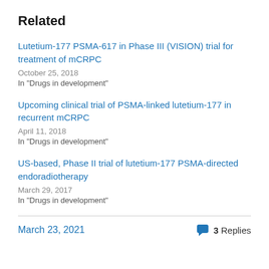Related
Lutetium-177 PSMA-617 in Phase III (VISION) trial for treatment of mCRPC
October 25, 2018
In "Drugs in development"
Upcoming clinical trial of PSMA-linked lutetium-177 in recurrent mCRPC
April 11, 2018
In "Drugs in development"
US-based, Phase II trial of lutetium-177 PSMA-directed endoradiotherapy
March 29, 2017
In "Drugs in development"
March 23, 2021
3 Replies